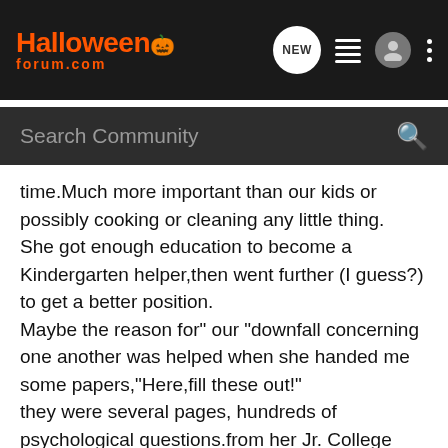[Figure (logo): HalloweenForum.com logo in orange with jack-o-lantern icon on dark background navigation bar, with NEW bubble icon, list icon, person icon, and dots menu icon]
Search Community
time.Much more important than our kids or possibly cooking or cleaning any little thing.
She got enough education to become a Kindergarten helper,then went further (I guess?) to get a better position.
Maybe the reason for" our "downfall concerning one another was helped when she handed me some papers,"Here,fill these out!"
they were several pages, hundreds of psychological questions.from her Jr. College class in Child Psych.
I had always allowed her to think that she was "The Smart One",she needed this for her fragile ego?
When she returned those little test papers to her instructor and they went over my answers ,My wife began looking at me differently .
the instructor said:"WHO filled this out? Nobody can be like this Passive --Aggressive ying-yang: yadda-yadda-yadda!"